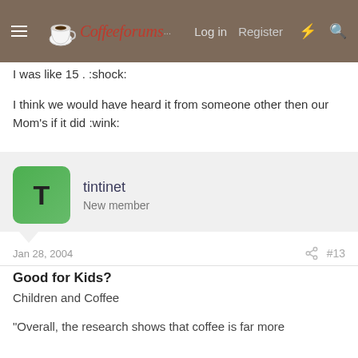CoffeeForums.com — Log in  Register
I was like 15 . :shock:
I think we would have heard it from someone other then our Mom's if it did :wink:
tintinet
New member
Jan 28, 2004  #13
Good for Kids?
Children and Coffee
"Overall, the research shows that coffee is far more